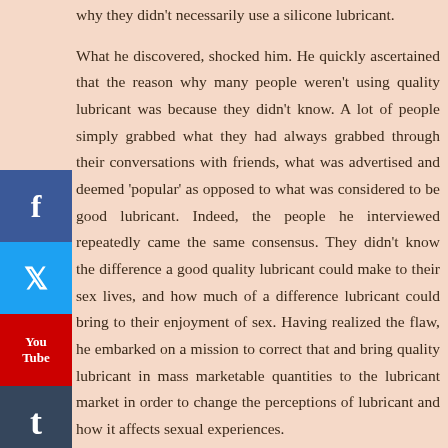why they didn't necessarily use a silicone lubricant.
What he discovered, shocked him. He quickly ascertained that the reason why many people weren't using quality lubricant was because they didn't know. A lot of people simply grabbed what they had always grabbed through their conversations with friends, what was advertised and deemed 'popular' as opposed to what was considered to be good lubricant. Indeed, the people he interviewed repeatedly came the same consensus. They didn't know the difference a good quality lubricant could make to their sex lives, and how much of a difference lubricant could bring to their enjoyment of sex. Having realized the flaw, he embarked on a mission to correct that and bring quality lubricant in mass marketable quantities to the lubricant market in order to change the perceptions of lubricant and how it affects sexual experiences.